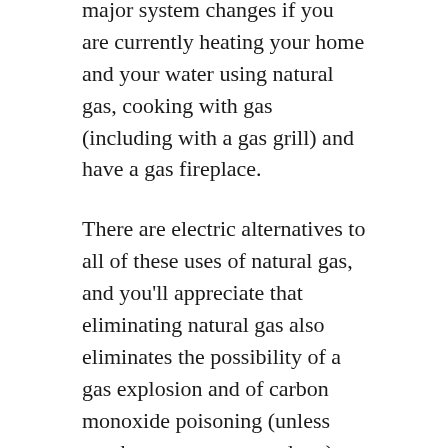major system changes if you are currently heating your home and your water using natural gas, cooking with gas (including with a gas grill) and have a gas fireplace.
There are electric alternatives to all of these uses of natural gas, and you'll appreciate that eliminating natural gas also eliminates the possibility of a gas explosion and of carbon monoxide poisoning (unless you have a gas powered car).
Heating your home with electricity used to mean installing baseboard resistance heating units in each room, but that is so 20th century. Nowadays electric space heating is done far more efficiently (and cheaply) using heat